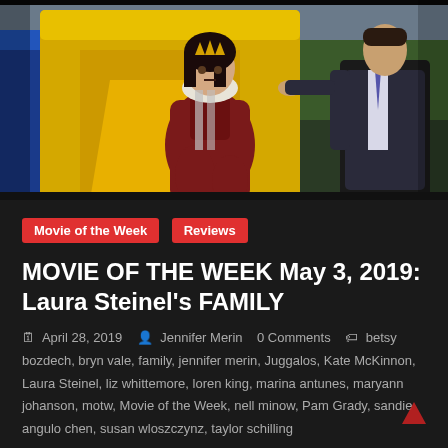[Figure (photo): Movie still from FAMILY: a young woman in a red velvet dress sits on a bouncy castle slide, while a man in a dark suit stands behind her; yellow and blue bouncy castle visible in background with green trees.]
Movie of the Week
Reviews
MOVIE OF THE WEEK May 3, 2019: Laura Steinel's FAMILY
April 28, 2019   Jennifer Merin   0 Comments   betsy bozdech, bryn vale, family, jennifer merin, Juggalos, Kate McKinnon, Laura Steinel, liz whittemore, loren king, marina antunes, maryann johanson, motw, Movie of the Week, nell minow, Pam Grady, sandie angulo chen, susan wloszczynz, taylor schilling
Stories about stand-offish/lonely/workaholic adults being transformed by their relationship with precocious/charming/offbeat kids aren't hard to find in